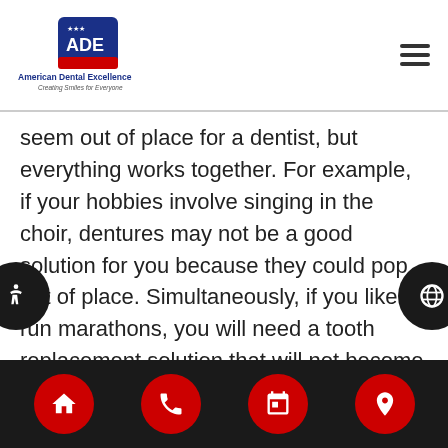[Figure (logo): American Dental Excellence logo with ADE initials and text 'Creating Smiles for Everyone']
seem out of place for a dentist, but everything works together. For example, if your hobbies involve singing in the choir, dentures may not be a good solution for you because they could pop out of place. Simultaneously, if you like to run marathons, you will need a tooth replacement solution that will not become loose with aggressive impact. After asking you questions and conducting a physical examination, we will make a recommendation as to which option we feel will work best for your lifestyle. If you are a good candidate for all of them, we will let you know that as well, so you can ask more specific questions regarding the procedures and cost involved
Navigation bar with home, phone, calendar, and location icons